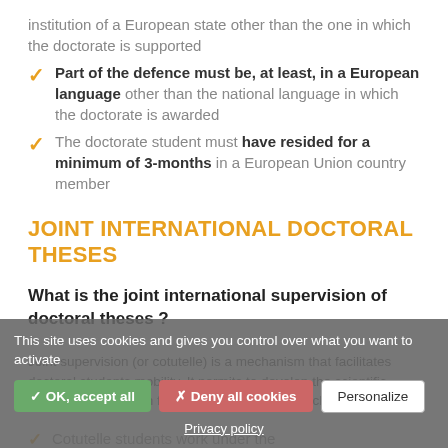institution of a European state other than the one in which the doctorate is supported
Part of the defence must be, at least, in a European language other than the national language in which the doctorate is awarded
The doctorate student must have resided for a minimum of 3-months in a European Union country member
JOINT INTERNATIONAL DOCTORAL THESES
What is the joint international supervision of doctoral theses ?
Joint supervision (or cotutelle) is a mechanism that facilitates doctoral students mobility. It permits to develop the scientific cooperation between foreign and French research teams:
Cotutelle students work under the
This site uses cookies and gives you control over what you want to activate